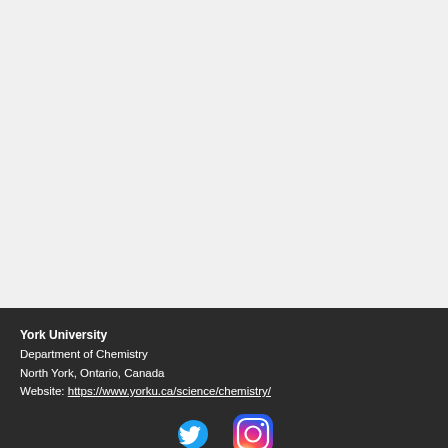[Figure (other): Large light gray blank area occupying the top portion of the page]
York University
Department of Chemistry
North York, Ontario, Canada
Website: https://www.yorku.ca/science/chemistry/
[Figure (logo): Twitter bird logo (blue) and Instagram camera logo (gradient pink/orange/purple) side by side]
© 2019 by Christine Le. Proudly created with Wix.com